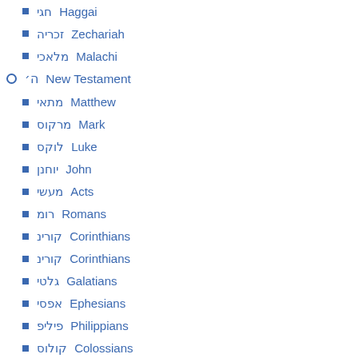חגי Haggai
זכריה Zechariah
מלאכי Malachi
ה New Testament
מתי Matthew
מרקוס Mark
לוקס Luke
יוחנן John
מעשי Acts
רומ Romans
קורינ Corinthians
קורינ Corinthians
גלטי Galatians
אפסי Ephesians
פיליפ Philippians
קולוס Colossians
תסלו Thessalonians
תסלו Thessalonians